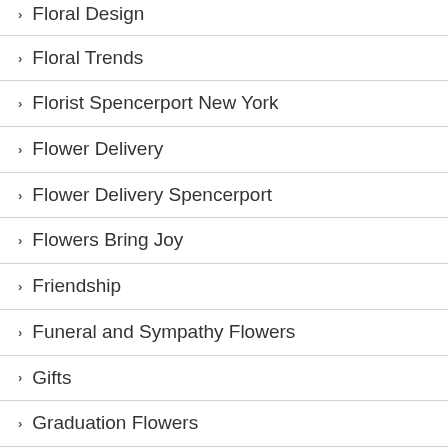Floral Design
Floral Trends
Florist Spencerport New York
Flower Delivery
Flower Delivery Spencerport
Flowers Bring Joy
Friendship
Funeral and Sympathy Flowers
Gifts
Graduation Flowers
Grandparents' Day